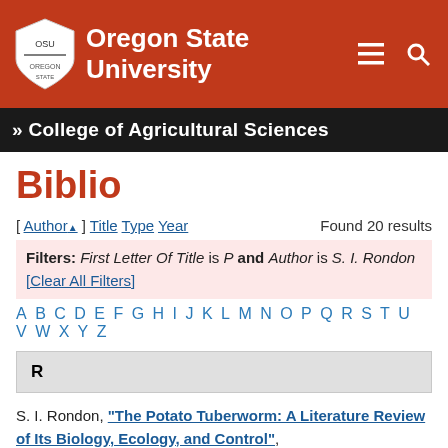[Figure (logo): Oregon State University logo with shield and text on orange header background]
» College of Agricultural Sciences
Biblio
[ Author▲ ] Title Type Year   Found 20 results
Filters: First Letter Of Title is P and Author is S. I. Rondon [Clear All Filters]
A B C D E F G H I J K L M N O P Q R S T U V W X Y Z
R
S. I. Rondon, "The Potato Tuberworm: A Literature Review of Its Biology, Ecology, and Control",